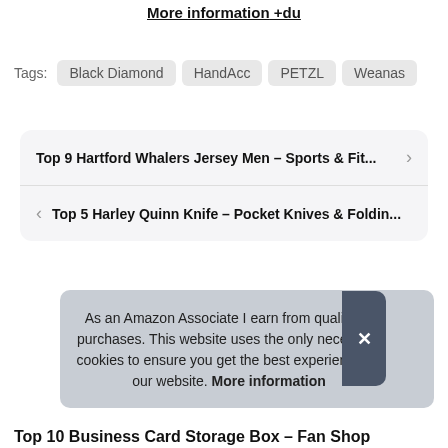More information +du
Tags: Black Diamond HandAcc PETZL Weanas
Top 9 Hartford Whalers Jersey Men – Sports & Fit...
Top 5 Harley Quinn Knife – Pocket Knives & Foldin...
As an Amazon Associate I earn from qualifying purchases. This website uses the only necessary cookies to ensure you get the best experience on our website. More information
Top 10 Business Card Storage Box – Fan Shop